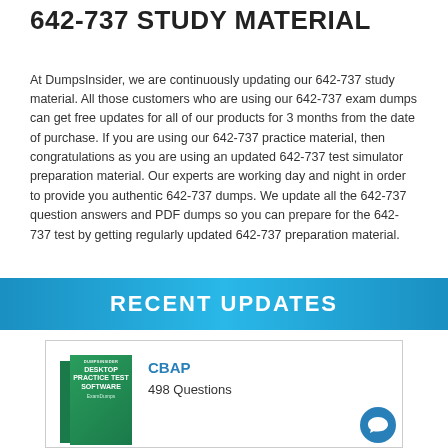642-737 STUDY MATERIAL
At DumpsInsider, we are continuously updating our 642-737 study material. All those customers who are using our 642-737 exam dumps can get free updates for all of our products for 3 months from the date of purchase. If you are using our 642-737 practice material, then congratulations as you are using an updated 642-737 test simulator preparation material. Our experts are working day and night in order to provide you authentic 642-737 dumps. We update all the 642-737 question answers and PDF dumps so you can prepare for the 642-737 test by getting regularly updated 642-737 preparation material.
RECENT UPDATES
[Figure (illustration): Desktop Practice Test Software product box image in green color]
CBAP
498 Questions